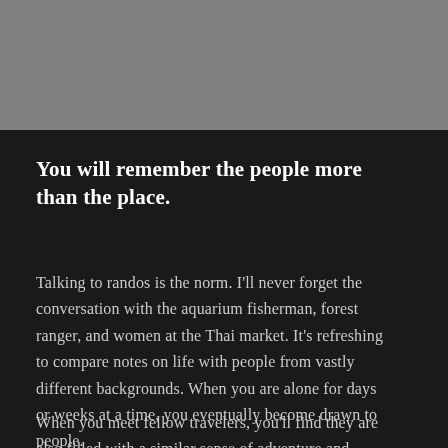[Figure (photo): Grayscale photograph at top of page, partially visible]
You will remember the people more than the place.
Talking to randos is the norm. I'll never forget the conversation with the aquarium fisherman, forest ranger, and women at the Thai market. It's refreshing to compare notes on life with people from vastly different backgrounds. When you are alone for days or weeks at a time, you eventually become drawn to people.
When you meet fellow travelers, you'll find they are also filled with a similar sense of adventure and